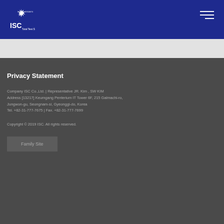[Figure (logo): ISC Co.,Ltd. logo with snowflake/asterisk icon and text 'Total Test Solution' on dark blue header background]
Privacy Statement
Company ISC Co.,Ltd. | Representative JR. Kim , SW KIM
Address [13217] Keumgang Penterium IT Tower 6F, 215 Galmachi-ro, Jungwon-gu, Seongnam-si, Gyeonggi-do, Korea
Tel. +82-31-777-7675 | Fax. +82-31-777-7699
Copyright © 2019 ISC. All rights reserved.
Family Site